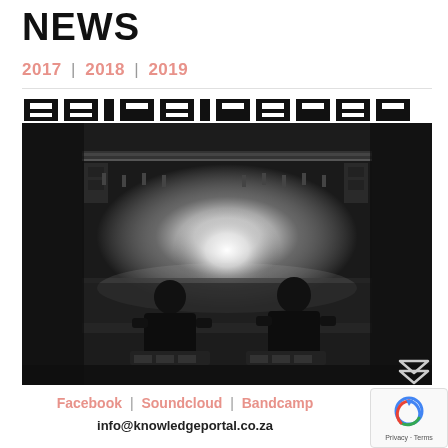NEWS
2017  |  2018  |  2019
[Figure (photo): Partially visible text banner at top (appears to be a stylized headline with bold geometric characters, partially cropped)]
[Figure (photo): Black and white concert/DJ photo showing two silhouetted figures at equipment with a bright spotlight and crowd behind them in a large venue with stage lighting rigging visible]
Facebook | Soundcloud | Bandcamp
info@knowledgeportal.co.za
[Figure (logo): Google reCAPTCHA badge with Privacy and Terms text]